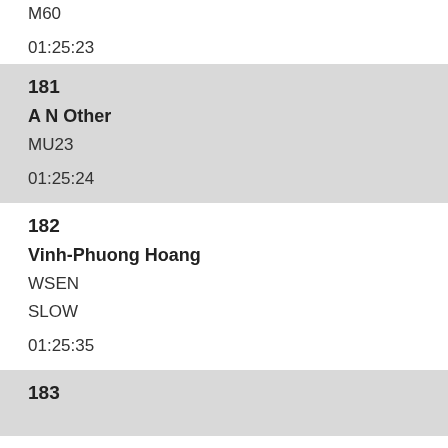M60
01:25:23
181
A N Other
MU23
01:25:24
182
Vinh-Phuong Hoang
WSEN
SLOW
01:25:35
183